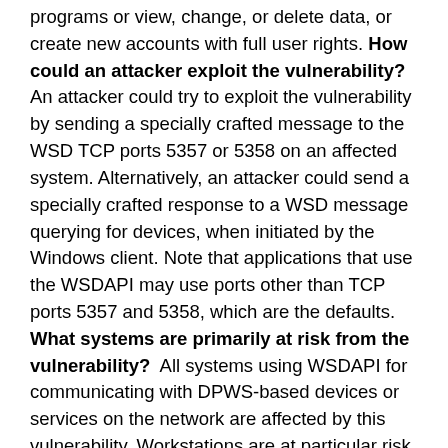programs or view, change, or delete data, or create new accounts with full user rights. **How could an attacker exploit the vulnerability?**  An attacker could try to exploit the vulnerability by sending a specially crafted message to the WSD TCP ports 5357 or 5358 on an affected system. Alternatively, an attacker could send a specially crafted response to a WSD message querying for devices, when initiated by the Windows client. Note that applications that use the WSDAPI may use ports other than TCP ports 5357 and 5358, which are the defaults. **What systems are primarily at risk from the vulnerability?**  All systems using WSDAPI for communicating with DPWS-based devices or services on the network are affected by this vulnerability. Workstations are at particular risk when they have their Windows firewall configuration set to anything else but "public". **What does the update do?**  The update addresses this vulnerability by correctly processing WSD message headers. **When this security bulletin was issued,